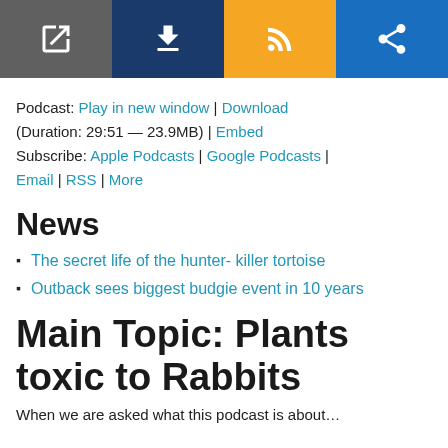[Figure (screenshot): Toolbar with four icon buttons: open in new window (gray), download (dark blue), RSS feed (orange), share (blue)]
Podcast: Play in new window | Download (Duration: 29:51 — 23.9MB) | Embed Subscribe: Apple Podcasts | Google Podcasts | Email | RSS | More
News
The secret life of the hunter- killer tortoise
Outback sees biggest budgie event in 10 years
Main Topic: Plants toxic to Rabbits
When we are asked what this podcast is about…